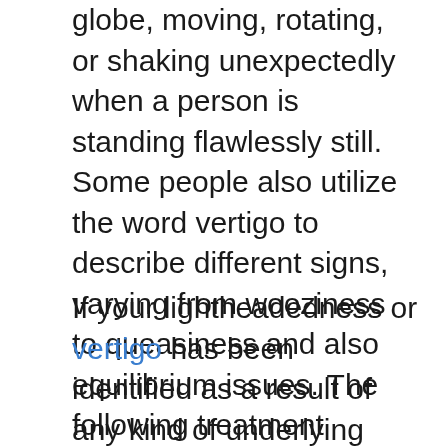globe, moving, rotating, or shaking unexpectedly when a person is standing flawlessly still. Some people also utilize the word vertigo to describe different signs, varying from wooziness to queasiness and also equilibrium issues. The following treatment options are commonly used to deal with dizziness as well as vertigo. How To Prevent Getting Dizzy Riding Horses In The Surf
If your lightheadedness or vertigo has been identified as a result of any kind of underlying clinical problem, you should consult your medical professional immediately before starting any kind of exercises. Even if the symptoms you are experiencing are not due to a medical